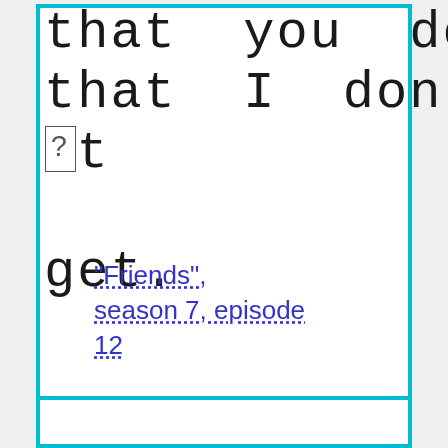that you do that I don⁇t get.
"Friends", season 7, episode 12